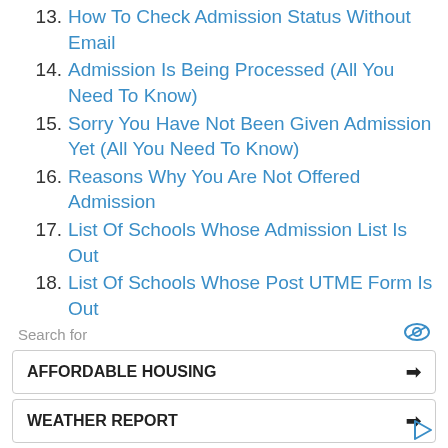13. How To Check Admission Status Without Email
14. Admission Is Being Processed (All You Need To Know)
15. Sorry You Have Not Been Given Admission Yet (All You Need To Know)
16. Reasons Why You Are Not Offered Admission
17. List Of Schools Whose Admission List Is Out
18. List Of Schools Whose Post UTME Form Is Out
19. How To Check School Admission Status
20. How To Check Direct Entry Admission Status
21. List Of Schools Whose Admission List Is Out
22. List Of Schools Whose Post UTME Form Is Out
Search for | AFFORDABLE HOUSING → | WEATHER REPORT →